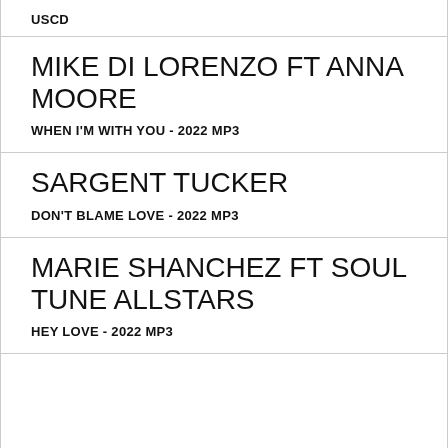USCD
MIKE DI LORENZO FT ANNA MOORE
WHEN I'M WITH YOU - 2022 MP3
SARGENT TUCKER
DON'T BLAME LOVE - 2022 MP3
MARIE SHANCHEZ FT SOUL TUNE ALLSTARS
HEY LOVE - 2022 MP3